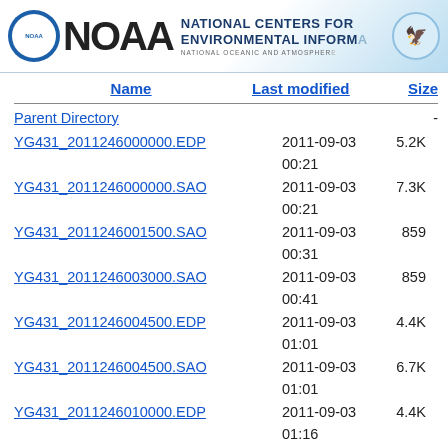NOAA NATIONAL CENTERS FOR ENVIRONMENTAL INFORMATION NATIONAL OCEANIC AND ATMOSPHERIC
| Name | Last modified | Size |
| --- | --- | --- |
| Parent Directory |  | - |
| YG431_2011246000000.EDP | 2011-09-03 00:21 | 5.2K |
| YG431_2011246000000.SAO | 2011-09-03 00:21 | 7.3K |
| YG431_2011246001500.SAO | 2011-09-03 00:31 | 859 |
| YG431_2011246003000.SAO | 2011-09-03 00:41 | 859 |
| YG431_2011246004500.EDP | 2011-09-03 01:01 | 4.4K |
| YG431_2011246004500.SAO | 2011-09-03 01:01 | 6.7K |
| YG431_2011246010000.EDP | 2011-09-03 01:16 | 4.4K |
| YG431_2011246010000.SAO | 2011-09-03 01:16 | 6.7K |
| YG431_2011246011500.SAO | 2011-09-03 01:31 | 859 |
| YG431_2011246013000.EDP | 2011-09-03 01:46 | 3.6K |
| YG431_2011246013000.SAO | 2011-09-03 01:46 | 7.6K |
| YG431_2011246014500.SAO | 2011-09-03 01:56 | 859 |
| YG431_2011246020000.EDP | 2011-09-03 02:16 | 4.3K |
| YG431_2011246020000.SAO | 2011-09-03 02:16 | 7.0K |